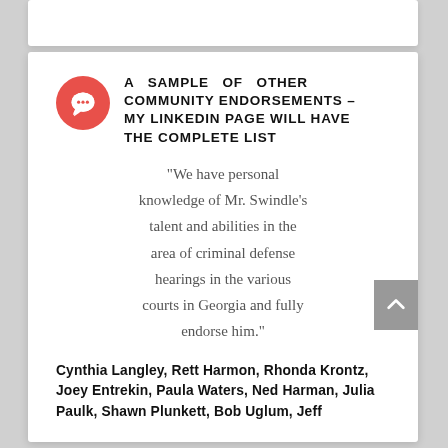A SAMPLE OF OTHER COMMUNITY ENDORSEMENTS – MY LINKEDIN PAGE WILL HAVE THE COMPLETE LIST
“We have personal knowledge of Mr. Swindle’s talent and abilities in the area of criminal defense hearings in the various courts in Georgia and fully endorse him.”
Cynthia Langley, Rett Harmon, Rhonda Krontz, Joey Entrekin, Paula Waters, Ned Harman, Julia Paulk, Shawn Plunkett, Bob Uglum, Jeff